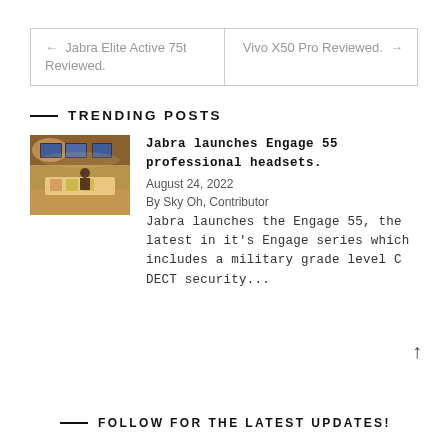← Jabra Elite Active 75t Reviewed. | Vivo X50 Pro → Reviewed.
TRENDING POSTS
[Figure (photo): Photo of a retail or conference room with screens and display stands, warm lighting.]
Jabra launches Engage 55 professional headsets.
August 24, 2022
By Sky Oh, Contributor
Jabra launches the Engage 55, the latest in it's Engage series which includes a military grade level C DECT security...
FOLLOW FOR THE LATEST UPDATES!